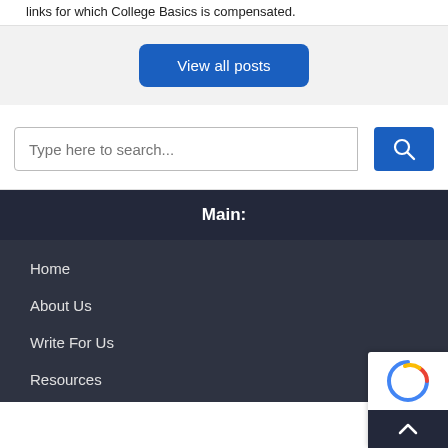links for which College Basics is compensated.
View all posts
Type here to search...
Main:
Home
About Us
Write For Us
Resources